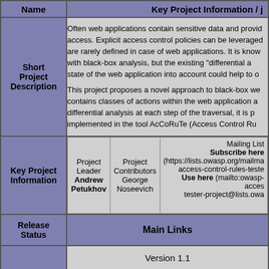| Name | Key Project Information / Description |
| --- | --- |
| Short Project Description | Often web applications contain sensitive data and provide access. Explicit access control policies can be leveraged are rarely defined in case of web applications. It is known with black-box analysis, but the existing "differential an state of the web application into account could help to o

This project proposes a novel approach to black-box we contains classes of actions within the web application ar differential analysis at each step of the traversal, it is po implemented in the tool AcCoRuTe (Access Control Ru |
| Key Project Information | Project Leader: Andrew Petukhov | Project Contributors: George Noseevich | Mailing List Subscribe here (https://lists.owasp.org/mailman access-control-rules-teste Use here (mailto:owasp-access- tester-project@lists.owa |
| Release Status | Main Links |
|  | Version 1.1 |
|  | GET Description from http://... |